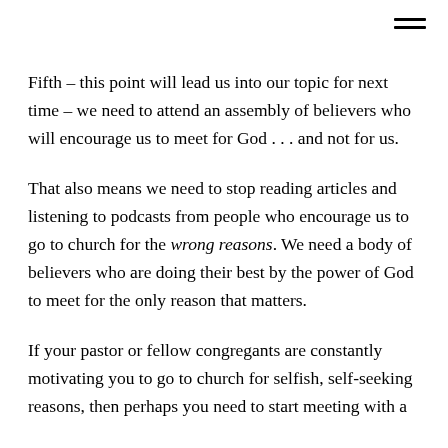Fifth – this point will lead us into our topic for next time – we need to attend an assembly of believers who will encourage us to meet for God . . . and not for us.
That also means we need to stop reading articles and listening to podcasts from people who encourage us to go to church for the wrong reasons. We need a body of believers who are doing their best by the power of God to meet for the only reason that matters.
If your pastor or fellow congregants are constantly motivating you to go to church for selfish, self-seeking reasons, then perhaps you need to start meeting with a